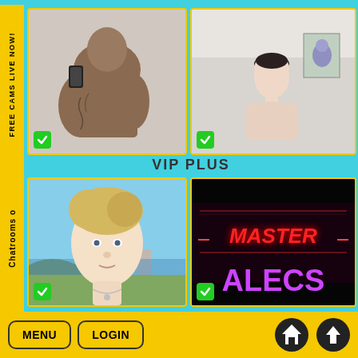FREE CAMS LIVE NOW!
[Figure (photo): Muscular man taking mirror selfie with phone, showing tattoos on arm]
[Figure (photo): Slim young man standing in a room with light purple decor]
VIP PLUS
[Figure (photo): Blonde young man outdoors near beach/coastline]
[Figure (photo): Neon sign reading MASTER ALECS on black background]
Chatrooms o
MENU
LOGIN